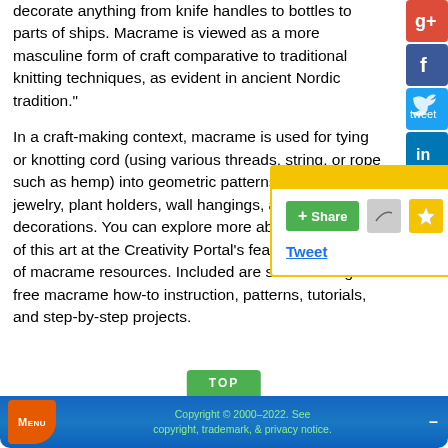decorate anything from knife handles to bottles to parts of ships. Macrame is viewed as a more masculine form of craft comparative to traditional knitting techniques, as evident in ancient Nordic tradition."
In a craft-making context, macrame is used for tying or knotting cord (using various threads, string, or rope such as hemp) into geometric patterns to make jewelry, plant holders, wall hangings, and home decorations. You can explore more about the history of this art at the Creativity Portal's featured collection of macrame resources. Included are sites offering free macrame how-to instruction, patterns, tutorials, and step-by-step projects.
[Figure (screenshot): Share popup overlay with yellow header, close button (x), green Share button, email icon, star icon, and Tweet hyperlink]
[Figure (screenshot): Social media sidebar with Google+, Facebook, Twitter, LinkedIn buttons and SEE MORE button]
Menu   Copyright © 2000–2022. See copyright, trademark, & privacy notice.   —